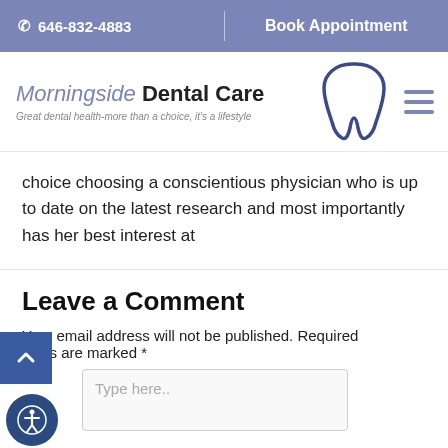📞 646-832-4883   |   Book Appointment
[Figure (logo): Morningside Dental Care logo with tooth icon and tagline: Great dental health-more than a choice, it's a lifestyle]
choice choosing a conscientious physician who is up to date on the latest research and most importantly has her best interest at
Leave a Comment
Your email address will not be published. Required fields are marked *
Type here..